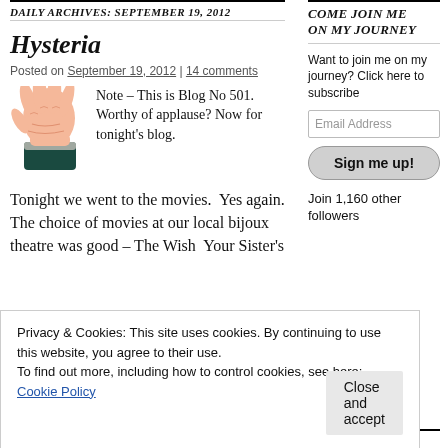DAILY ARCHIVES: SEPTEMBER 19, 2012
Hysteria
Posted on September 19, 2012 | 14 comments
[Figure (illustration): Illustration of a hand clapping or gesturing, wearing a dark sleeve with gray cuff]
Note – This is Blog No 501.  Worthy of applause? Now for tonight's blog.
Tonight we went to the movies.  Yes again.  The choice of movies at our local bijoux theatre was good – The Wish  Your Sister's
COME JOIN ME ON MY JOURNEY
Want to join me on my journey? Click here to subscribe
Email Address
Sign me up!
Join 1,160 other followers
Privacy & Cookies: This site uses cookies. By continuing to use this website, you agree to their use.
To find out more, including how to control cookies, see here: Cookie Policy
Close and accept
phrase for many women's problems.  Click
BEST OF MY LIFE